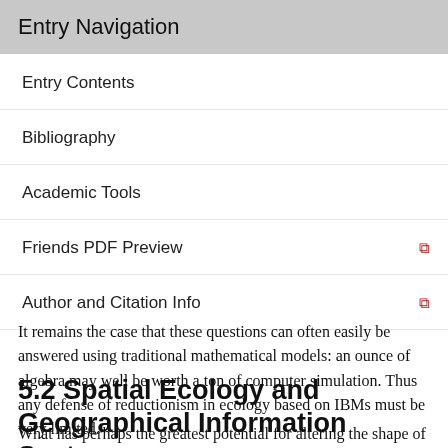Entry Navigation
Entry Contents
Bibliography
Academic Tools
Friends PDF Preview
Author and Citation Info
It remains the case that these questions can often easily be answered using traditional mathematical models: an ounce of algebra may well be worth a ton of computer simulation. Thus any defense of reductionism in ecology based on IBMs must be very limited.
5.2 Spatial Ecology and Geographical Information Systems
What has perhaps the greatest potential for altering the shape of ecology is the advent of Geographic Information Systems (GIS), which enable the detailed spatial...